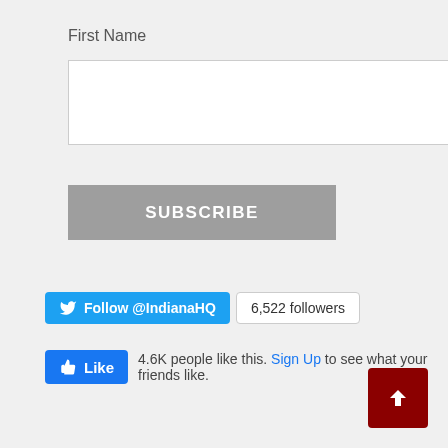First Name
[Figure (screenshot): Empty text input field for First Name]
SUBSCRIBE
[Figure (screenshot): Twitter Follow button for @IndianaHQ showing 6,522 followers]
[Figure (screenshot): Facebook Like button showing 4.6K people like this. Sign Up to see what your friends like.]
[Figure (screenshot): Back to top button (dark red square with up arrow) in bottom right corner]